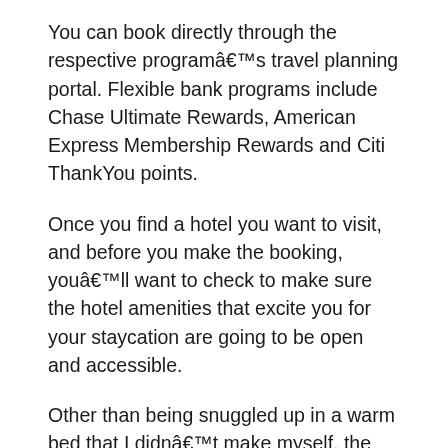You can book directly through the respective programâs travel planning portal. Flexible bank programs include Chase Ultimate Rewards, American Express Membership Rewards and Citi ThankYou points.
Once you find a hotel you want to visit, and before you make the booking, youâll want to check to make sure the hotel amenities that excite you for your staycation are going to be open and accessible.
Other than being snuggled up in a warm bed that I didnât make myself, the best part of my staycation weekend at the Hyatt Centric Portland was the food.
Masia, the hotelâs signature restaurant designed by Portlandâs award-winning Spanish chef Jose Chesa, was finally open and serving after a long COVID closure. Sinceblling…